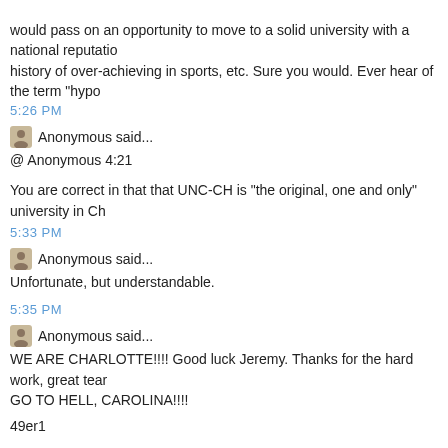would pass on an opportunity to move to a solid university with a national reputation history of over-achieving in sports, etc. Sure you would. Ever hear of the term "hypo
5:26 PM
Anonymous said...
@ Anonymous 4:21
You are correct in that that UNC-CH is "the original, one and only" university in Ch
5:33 PM
Anonymous said...
Unfortunate, but understandable.
5:35 PM
Anonymous said...
WE ARE CHARLOTTE!!!! Good luck Jeremy. Thanks for the hard work, great tear GO TO HELL, CAROLINA!!!!
49er1
5:51 PM